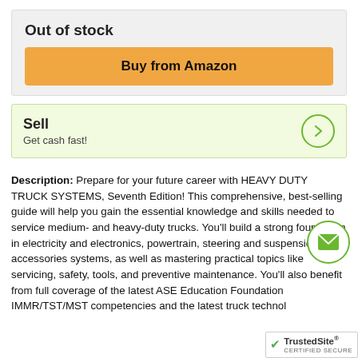Out of stock
Buy from Amazon
Sell
Get cash fast!
Description: Prepare for your future career with HEAVY DUTY TRUCK SYSTEMS, Seventh Edition! This comprehensive, best-selling guide will help you gain the essential knowledge and skills needed to service medium- and heavy-duty trucks. You'll build a strong foundation in electricity and electronics, powertrain, steering and suspension, and accessories systems, as well as mastering practical topics like servicing, safety, tools, and preventive maintenance. You'll also benefit from full coverage of the latest ASE Education Foundation IMMR/TST/MST competencies and the latest truck technol